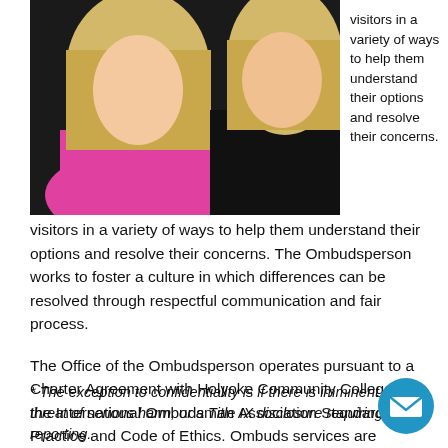[Figure (photo): Photo of two people, one wearing a pink/magenta top with blonde hair, another in dark clothing with blonde hair]
visitors in a variety of ways to help them understand their options and resolve their concerns. The Ombudsperson works to foster a culture in which differences can be resolved through respectful communication and fair process.
The Office of the Ombudsperson operates pursuant to a Charter Agreement with Holyoke Community College and the International Ombudsman Association Standards of Practice and Code of Ethics. Ombuds services are confidential*, neutral, informal, and independent.
* The exception to confidentiality is if there is imminent threat of serious harm, or a Title IX disclosure requiring reporting.